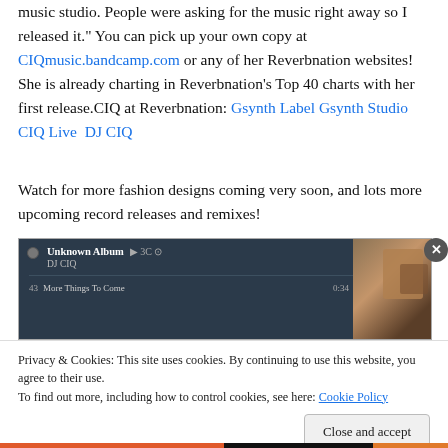music studio. People were asking for the music right away so I released it." You can pick up your own copy at CIQmusic.bandcamp.com or any of her Reverbnation websites! She is already charting in Reverbnation's Top 40 charts with her first release.CIQ at Reverbnation: Gsynth Label Gsynth Studio CIQ Live  DJ CIQ
Watch for more fashion designs coming very soon, and lots more upcoming record releases and remixes!
[Figure (screenshot): Screenshot of a music player interface showing 'Unknown Album' by DJ CIQ with track '43 More Things To Come' at 0:34, overlaid by a cookie consent banner. The banner reads: 'Privacy & Cookies: This site uses cookies. By continuing to use this website, you agree to their use. To find out more, including how to control cookies, see here: Cookie Policy' with a 'Close and accept' button.]